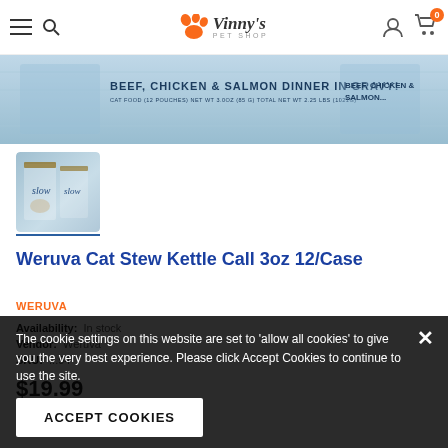Vinny's Pet Shop
[Figure (photo): Product banner showing Weruva cat food box with text BEEF, CHICKEN & SALMON DINNER IN GRAVY]
[Figure (photo): Thumbnail image of Weruva slow cat stew product box]
Weruva Cat Stew Kettle Call 3oz 12/Case
WERUVA
Availability: In stock
Vendor: Weruva
SKU: ...94
$19.99
The cookie settings on this website are set to 'allow all cookies' to give you the very best experience. Please click Accept Cookies to continue to use the site.